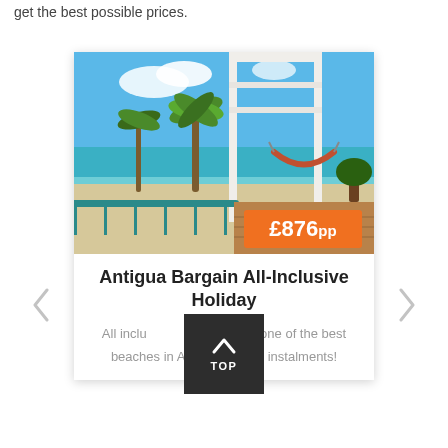get the best possible prices.
[Figure (photo): Beach resort photo showing a tropical beach with palm trees, turquoise water, and a balcony/veranda with teal railings and a hammock, with a price badge showing £876pp]
Antigua Bargain All-Inclusive Holiday
All inclusive ... ar hotel on one of the best beaches in Antigua. Pay in instalments!